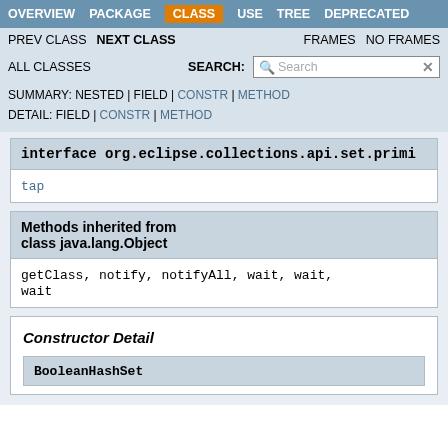OVERVIEW  PACKAGE  CLASS  USE  TREE  DEPRECATED
PREV CLASS  NEXT CLASS  FRAMES  NO FRAMES
ALL CLASSES  SEARCH:
SUMMARY: NESTED | FIELD | CONSTR | METHOD  DETAIL: FIELD | CONSTR | METHOD
interface org.eclipse.collections.api.set.primi
tap
Methods inherited from class java.lang.Object
getClass, notify, notifyAll, wait, wait, wait
Constructor Detail
BooleanHashSet